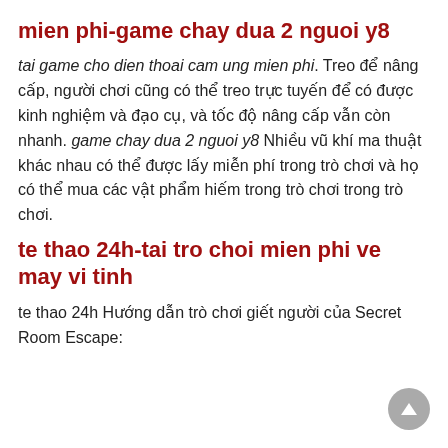mien phi-game chay dua 2 nguoi y8
tai game cho dien thoai cam ung mien phi. Treo để nâng cấp, người chơi cũng có thể treo trực tuyến để có được kinh nghiệm và đạo cụ, và tốc độ nâng cấp vẫn còn nhanh. game chay dua 2 nguoi y8 Nhiều vũ khí ma thuật khác nhau có thể được lấy miễn phí trong trò chơi và họ có thể mua các vật phẩm hiếm trong trò chơi trong trò chơi.
te thao 24h-tai tro choi mien phi ve may vi tinh
te thao 24h Hướng dẫn trò chơi giết người của Secret Room Escape: